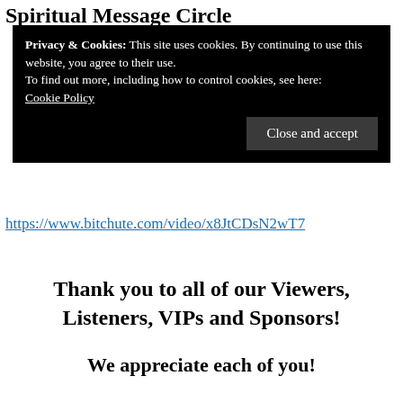Spiritual Message Circle
Privacy & Cookies: This site uses cookies. By continuing to use this website, you agree to their use.
To find out more, including how to control cookies, see here:
Cookie Policy
Close and accept
https://www.bitchute.com/video/x8JtCDsN2wT7
Thank you to all of our Viewers, Listeners, VIPs and Sponsors!
We appreciate each of you!